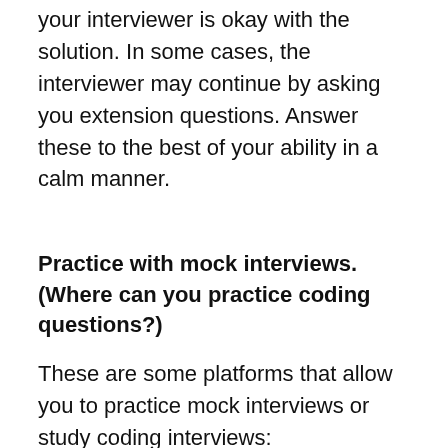your interviewer is okay with the solution. In some cases, the interviewer may continue by asking you extension questions. Answer these to the best of your ability in a calm manner.
Practice with mock interviews. (Where can you practice coding questions?)
These are some platforms that allow you to practice mock interviews or study coding interviews:
Interviewing.io